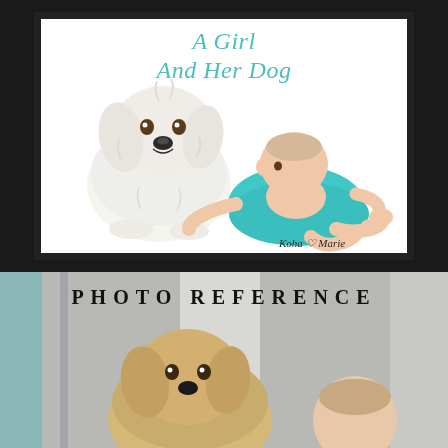[Figure (illustration): Illustrated book cover in a black frame on dark background. Title 'A Girl And Her Dog' in teal cursive script at top. Illustration shows a fluffy white dog sitting beside a baby girl in a teal dress crawling on the ground. Signature 'Koha & Marie' in cursive at bottom right.]
[Figure (photo): Photo reference section showing a real photograph of a fluffy golden/cream dog and a baby side by side, with text 'Photo Reference' overlaid in bold spaced black letters. Background shows a light interior with teal accents.]